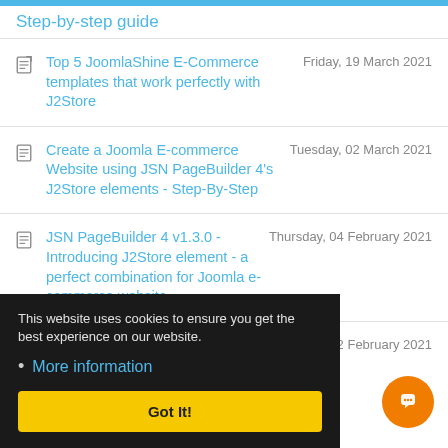Step-by-step guide
Top 5 JoomlaShine E-Commerce templates that work perfectly with J2Store
Create a Joomla E-commerce Website using JSN PageBuilder 4's J2Store elements - Step-By-Step
JSN PageBuilder 4 v1.3.0 - Introducing J2Store element - a perfect combination for Joomla e-commerce website
7 Tips to have an effective design
This website uses cookies to ensure you get the best experience on our website.
• More information
Got It!